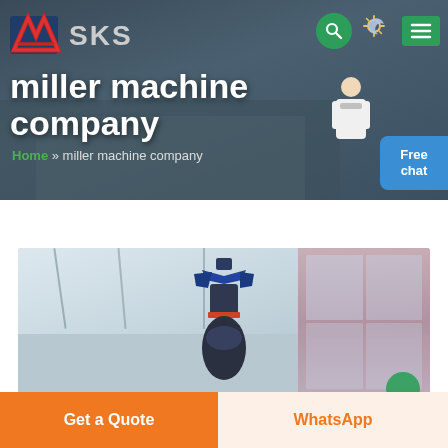[Figure (screenshot): SKS company website header banner with building background, logo, navigation icons, main title, and breadcrumb]
miller machine company
Home » miller machine company
[Figure (photo): Industrial machine (large milling machine) inside a warehouse with white roof structure and windows, viewed from below]
Get a Quote
WhatsApp